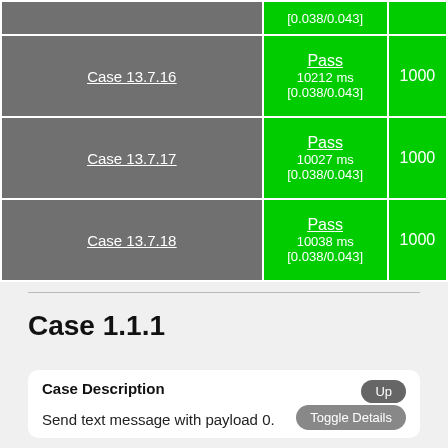| Test Case | Result | Count |
| --- | --- | --- |
|  | Pass
10212 ms
[0.038/0.043] | 1000 |
| Case 13.7.16 | Pass
10212 ms
[0.038/0.043] | 1000 |
| Case 13.7.17 | Pass
10027 ms
[0.038/0.043] | 1000 |
| Case 13.7.18 | Pass
10038 ms
[0.038/0.043] | 1000 |
Case 1.1.1
Case Description
Send text message with payload 0.